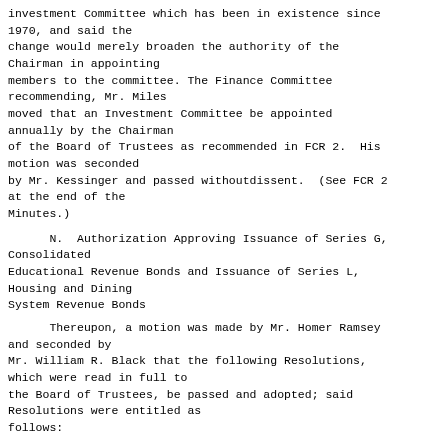Investment Committee which has been in existence since 1970, and said the change would merely broaden the authority of the Chairman in appointing members to the committee. The Finance Committee recommending, Mr. Miles moved that an Investment Committee be appointed annually by the Chairman of the Board of Trustees as recommended in FCR 2.  His motion was seconded by Mr. Kessinger and passed withoutdissent.  (See FCR 2 at the end of the Minutes.)
N.  Authorization Approving Issuance of Series G, Consolidated Educational Revenue Bonds and Issuance of Series L, Housing and Dining System Revenue Bonds
Thereupon, a motion was made by Mr. Homer Ramsey and seconded by Mr. William R. Black that the following Resolutions, which were read in full to the Board of Trustees, be passed and adopted; said Resolutions were entitled as follows:
A RESOLUTION OF THE BOARD OF TRUSTEES OF THE UNIVERSITY OF
MENTIONING APPROVING THE ISSUANCE OF TWENTIETH